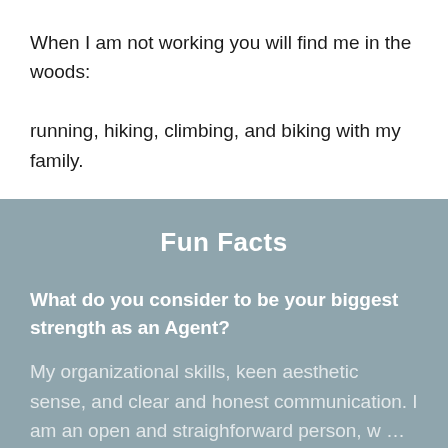When I am not working you will find me in the woods: running, hiking, climbing, and biking with my family.
Fun Facts
What do you consider to be your biggest strength as an Agent?
My organizational skills, keen aesthetic sense, and clear and honest communication. I am an open and straighforward person, w ... Read More